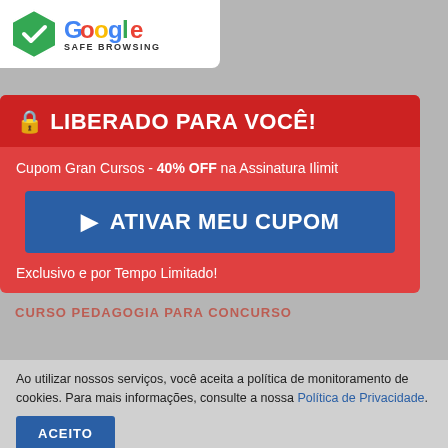[Figure (logo): Google Safe Browsing badge with shield icon and Google logo]
CONCURSOS E DICAS
DODF DO DIA
RANKING DOS MELHORES CURSOS ONLINE
CUPOM GRAN CURSOS
CURSO PEDAGOGIA PARA CONCURSO
🔒 LIBERADO PARA VOCÊ!
Cupom Gran Cursos - 40% OFF na Assinatura Ilimit
▶ ATIVAR MEU CUPOM
Exclusivo e por Tempo Limitado!
Ao utilizar nossos serviços, você aceita a política de monitoramento de cookies. Para mais informações, consulte a nossa Política de Privacidade.
ACEITO